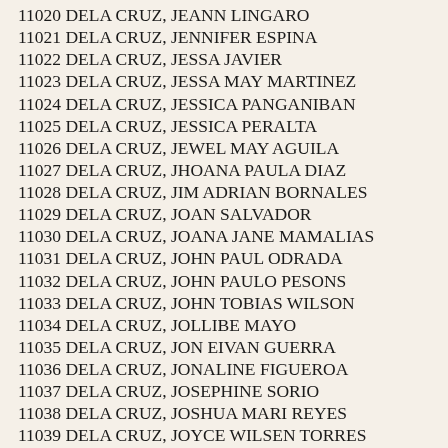11020 DELA CRUZ, JEANN LINGARO
11021 DELA CRUZ, JENNIFER ESPINA
11022 DELA CRUZ, JESSA JAVIER
11023 DELA CRUZ, JESSA MAY MARTINEZ
11024 DELA CRUZ, JESSICA PANGANIBAN
11025 DELA CRUZ, JESSICA PERALTA
11026 DELA CRUZ, JEWEL MAY AGUILA
11027 DELA CRUZ, JHOANA PAULA DIAZ
11028 DELA CRUZ, JIM ADRIAN BORNALES
11029 DELA CRUZ, JOAN SALVADOR
11030 DELA CRUZ, JOANA JANE MAMALIAS
11031 DELA CRUZ, JOHN PAUL ODRADA
11032 DELA CRUZ, JOHN PAULO PESONS
11033 DELA CRUZ, JOHN TOBIAS WILSON
11034 DELA CRUZ, JOLLIBE MAYO
11035 DELA CRUZ, JON EIVAN GUERRA
11036 DELA CRUZ, JONALINE FIGUEROA
11037 DELA CRUZ, JOSEPHINE SORIO
11038 DELA CRUZ, JOSHUA MARI REYES
11039 DELA CRUZ, JOYCE WILSEN TORRES
11040 DELA CRUZ, JUDY NICOLAS
11041 DELA CRUZ, JUDY ROMEROSA